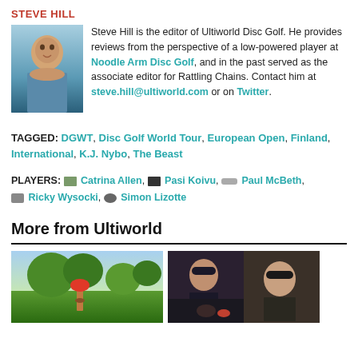STEVE HILL
Steve Hill is the editor of Ultiworld Disc Golf. He provides reviews from the perspective of a low-powered player at Noodle Arm Disc Golf, and in the past served as the associate editor for Rattling Chains. Contact him at steve.hill@ultiworld.com or on Twitter.
TAGGED: DGWT, Disc Golf World Tour, European Open, Finland, International, K.J. Nybo, The Beast
PLAYERS: Catrina Allen, Pasi Koivu, Paul McBeth, Ricky Wysocki, Simon Lizotte
More from Ultiworld
[Figure (photo): Outdoor disc golf photo showing a player in a red shirt with trees in background]
[Figure (photo): Podcast screenshot showing two people with microphones and headsets]